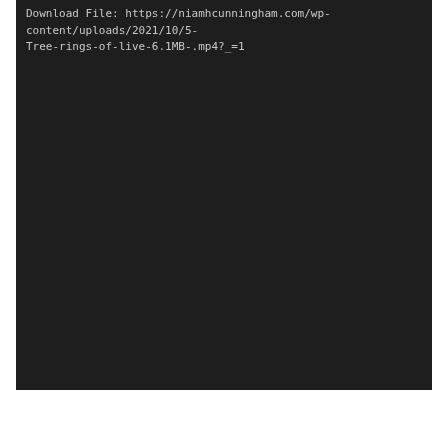Download File: https://niamhcunningham.com/wp-content/uploads/2021/10/5-Tree-rings-of-live-6.1MB-.mp4?_=1